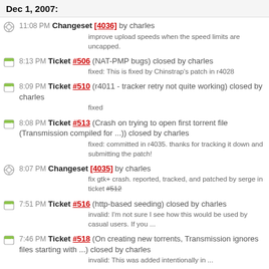Dec 1, 2007:
11:08 PM Changeset [4036] by charles
improve upload speeds when the speed limits are uncapped.
8:13 PM Ticket #506 (NAT-PMP bugs) closed by charles
fixed: This is fixed by Chinstrap's patch in r4028
8:09 PM Ticket #510 (r4011 - tracker retry not quite working) closed by charles
fixed
8:08 PM Ticket #513 (Crash on trying to open first torrent file (Transmission compiled for ...)) closed by charles
fixed: committed in r4035. thanks for tracking it down and submitting the patch!
8:07 PM Changeset [4035] by charles
fix gtk+ crash. reported, tracked, and patched by serge in ticket #512
7:51 PM Ticket #516 (http-based seeding) closed by charles
invalid: I'm not sure I see how this would be used by casual users. If you ...
7:46 PM Ticket #518 (On creating new torrents, Transmission ignores files starting with ...) closed by charles
invalid: This was added intentionally in ...
6:47 PM Ticket #518 (On creating new torrents, Transmission ignores files starting with ...) created by eisa01
I was creating a torrent, and discovered that Transmission did not ...